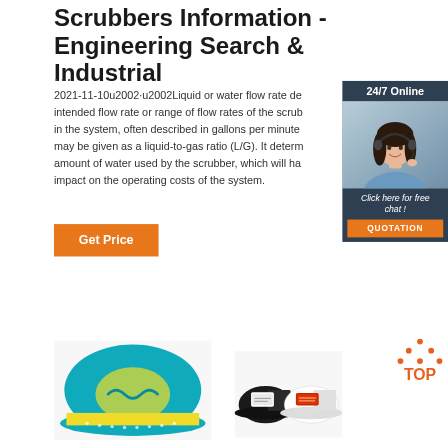Scrubbers Information - Engineering Search & Industrial
...
2021-11-10u2002·u2002Liquid or water flow rate de... intended flow rate or range of flow rates of the scrub... in the system, often described in gallons per minute ... may be given as a liquid-to-gas ratio (L/G). It determ... amount of water used by the scrubber, which will ha... impact on the operating costs of the system.
[Figure (photo): Chat widget with 24/7 Online header, a woman with headset customer service representative, 'Click here for free chat!' text, and an orange QUOTATION button]
[Figure (photo): Bottom left: close-up of a teal and yellow embroidered cap. Bottom right: two black and white trucker caps. Bottom right corner: orange TOP navigation button with dot-triangle icon above.]